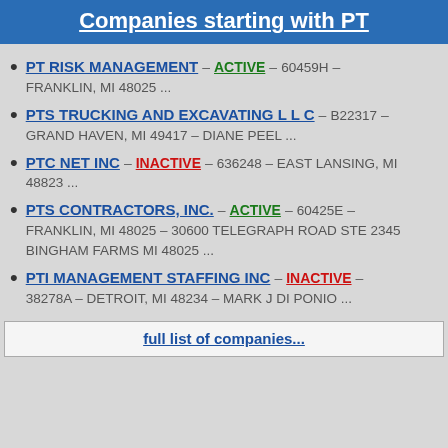Companies starting with PT
PT RISK MANAGEMENT – ACTIVE – 60459H – FRANKLIN, MI 48025 ...
PTS TRUCKING AND EXCAVATING L L C – B22317 – GRAND HAVEN, MI 49417 – DIANE PEEL ...
PTC NET INC – INACTIVE – 636248 – EAST LANSING, MI 48823 ...
PTS CONTRACTORS, INC. – ACTIVE – 60425E – FRANKLIN, MI 48025 – 30600 TELEGRAPH ROAD STE 2345 BINGHAM FARMS MI 48025 ...
PTI MANAGEMENT STAFFING INC – INACTIVE – 38278A – DETROIT, MI 48234 – MARK J DI PONIO ...
full list of companies...